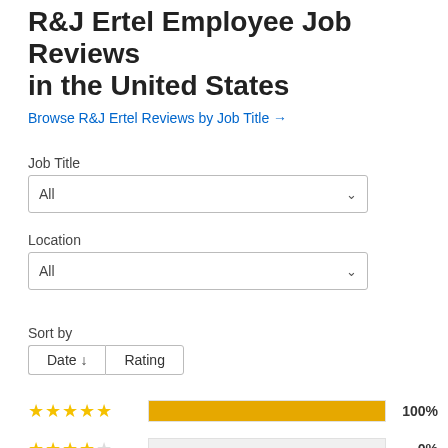R&J Ertel Employee Job Reviews in the United States
Browse R&J Ertel Reviews by Job Title →
Job Title
All
Location
All
Sort by
Date ↓   Rating
[Figure (bar-chart): Rating distribution]